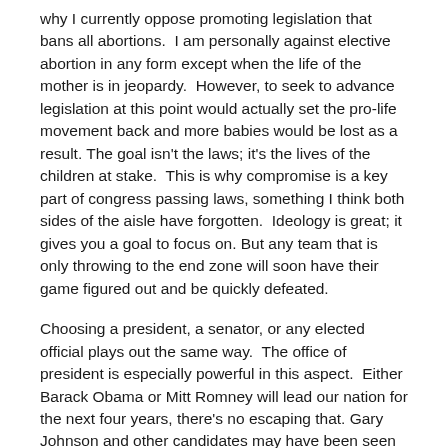why I currently oppose promoting legislation that bans all abortions.  I am personally against elective abortion in any form except when the life of the mother is in jeopardy.  However, to seek to advance legislation at this point would actually set the pro-life movement back and more babies would be lost as a result. The goal isn't the laws; it's the lives of the children at stake.  This is why compromise is a key part of congress passing laws, something I think both sides of the aisle have forgotten.  Ideology is great; it gives you a goal to focus on. But any team that is only throwing to the end zone will soon have their game figured out and be quickly defeated.
Choosing a president, a senator, or any elected official plays out the same way.  The office of president is especially powerful in this aspect.  Either Barack Obama or Mitt Romney will lead our nation for the next four years, there's no escaping that. Gary Johnson and other candidates may have been seen as more palatable, but they simply won't win. So, I would urge you to vote for the candidate that you deem more closely aligned to your goals and beliefs as a Christian. We choose presidents, not kings, and we are able to re-choose every four years for the express purpose that no one man will ever be the candidate that is perfect.
Lastly, I would note that in Romans 13 God tells us that the